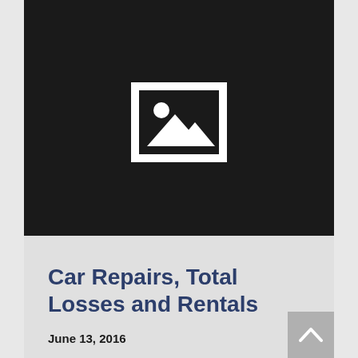[Figure (photo): Dark background placeholder image block with a white image placeholder icon (landscape/mountain scene icon) centered on the dark background.]
Car Repairs, Total Losses and Rentals
June 13, 2016